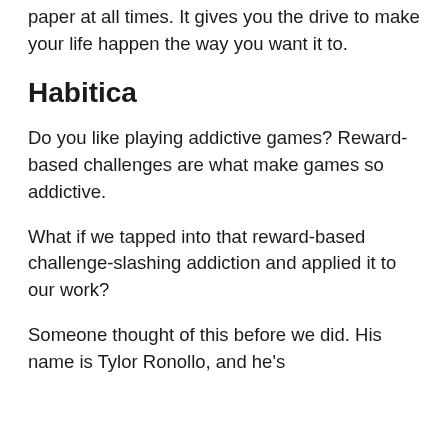paper at all times. It gives you the drive to make your life happen the way you want it to.
Habitica
Do you like playing addictive games? Reward-based challenges are what make games so addictive.
What if we tapped into that reward-based challenge-slashing addiction and applied it to our work?
Someone thought of this before we did. His name is Tyler Ronollo, and he's